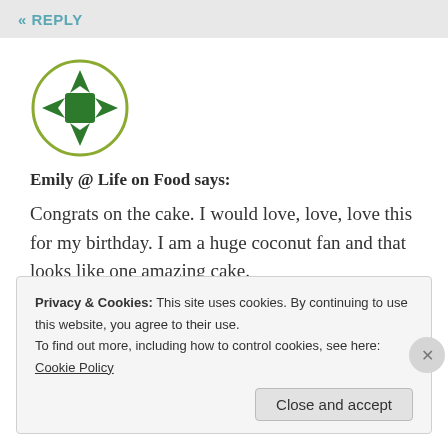« REPLY
[Figure (logo): Green circular avatar icon with a compass/directional symbol in dark green, inside a circular olive-green border]
Emily @ Life on Food says:
Congrats on the cake. I would love, love, love this for my birthday. I am a huge coconut fan and that looks like one amazing cake.
★ Like
Privacy & Cookies: This site uses cookies. By continuing to use this website, you agree to their use.
To find out more, including how to control cookies, see here:
Cookie Policy
Close and accept